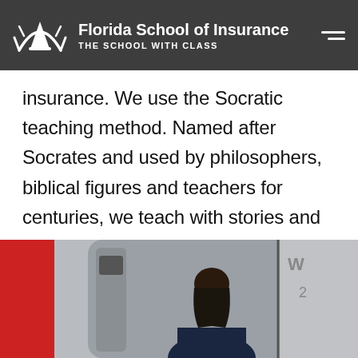Florida School of Insurance — THE SCHOOL WITH CLASS
insurance. We use the Socratic teaching method. Named after Socrates and used by philosophers, biblical figures and teachers for centuries, we teach with stories and questions. Everything we do is centered around engaging with the student to ensure their success.
[Figure (photo): Classroom/office scene with a woman in a dark top, a red block element on the left, grey panels, and partial whiteboard visible on the right.]